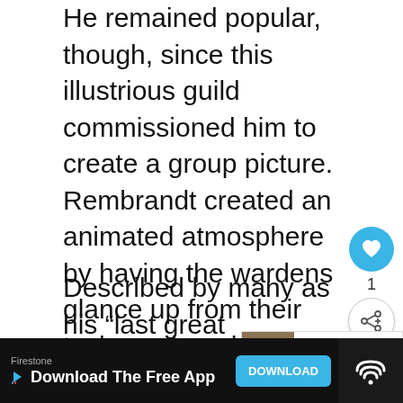He remained popular, though, since this illustrious guild commissioned him to create a group picture. Rembrandt created an animated atmosphere by having the wardens glance up from their task, as though disturbed by our presence.
Described by many as his “last great collective portrait” the scene sees the men look out towards the viewer as if they were monetarily interrupted sitting of the portrait.
[Figure (screenshot): Social interaction sidebar with heart/like button showing count of 1, and a share button. Also shows a 'What's Next' widget with thumbnail and text '17 Most Famous...']
[Figure (screenshot): Advertisement banner for Firestone app with download button and app icon on right]